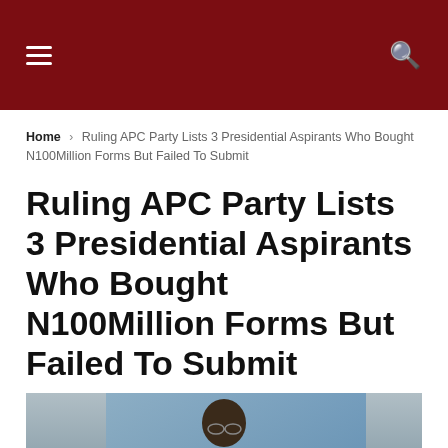Navigation bar with hamburger menu and search icon
Home › Ruling APC Party Lists 3 Presidential Aspirants Who Bought N100Million Forms But Failed To Submit
Ruling APC Party Lists 3 Presidential Aspirants Who Bought N100Million Forms But Failed To Submit
[Figure (photo): Photo of a person, partially visible, against a blue background]